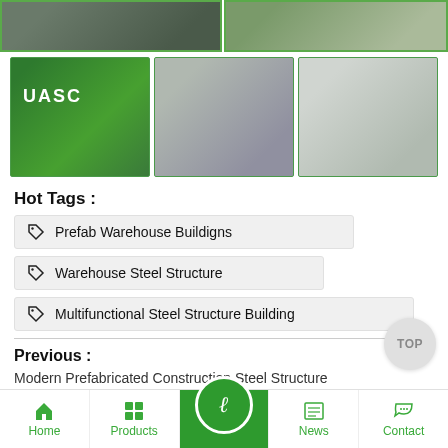[Figure (photo): Two stacked warehouse/steel product photos at top]
[Figure (photo): Three-column photo row: UASC shipping container on truck, steel beams loading, warehouse interior with panels]
Hot Tags :
Prefab Warehouse Buildigns
Warehouse Steel Structure
Multifunctional Steel Structure Building
Previous :
Modern Prefabricated Construction Steel Structure
Home | Products | [active] | News | Contact